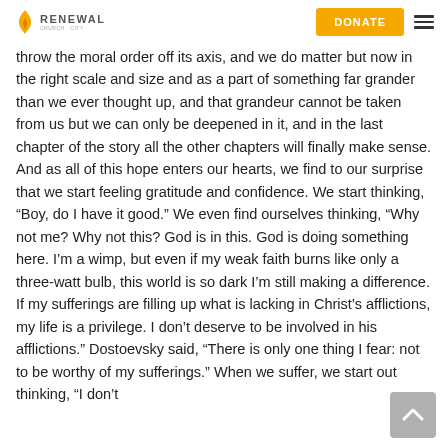RENEWAL | DONATE
throw the moral order off its axis, and we do matter but now in the right scale and size and as a part of something far grander than we ever thought up, and that grandeur cannot be taken from us but we can only be deepened in it, and in the last chapter of the story all the other chapters will finally make sense. And as all of this hope enters our hearts, we find to our surprise that we start feeling gratitude and confidence. We start thinking, “Boy, do I have it good.” We even find ourselves thinking, “Why not me? Why not this? God is in this. God is doing something here. I’m a wimp, but even if my weak faith burns like only a three-watt bulb, this world is so dark I’m still making a difference. If my sufferings are filling up what is lacking in Christ’s afflictions, my life is a privilege. I don’t deserve to be involved in his afflictions.” Dostoevsky said, “There is only one thing I fear: not to be worthy of my sufferings.” When we suffer, we start out thinking, “I don’t